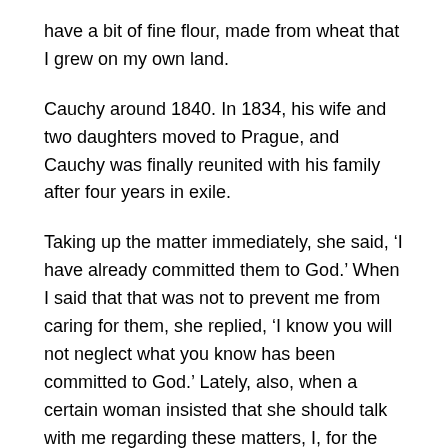have a bit of fine flour, made from wheat that I grew on my own land.
Cauchy around 1840. In 1834, his wife and two daughters moved to Prague, and Cauchy was finally reunited with his family after four years in exile.
Taking up the matter immediately, she said, ‘I have already committed them to God.’ When I said that that was not to prevent me from caring for them, she replied, ‘I know you will not neglect what you know has been committed to God.’ Lately, also, when a certain woman insisted that she should talk with me regarding these matters, I, for the first time, heard her give the following brief answer: ‘Assuredly the principal thing is that they live a pious and holy life. He finished his engineering course from Ecole Polytechnique in 1807.
Here Augustin-Louis stayed for three years, and was assigned the